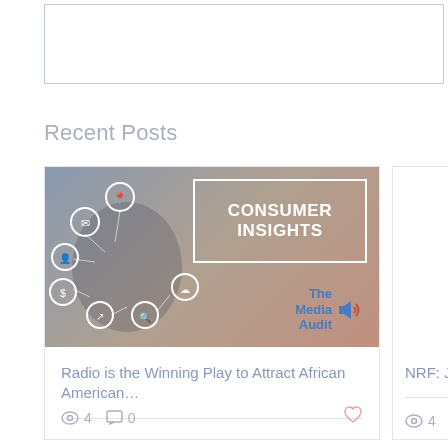Recent Posts
[Figure (photo): Card with Consumer Insights image (The Media Audit) and title 'Radio is the Winning Play to Attract African American...' with 4 views, 0 comments, and a heart icon]
[Figure (logo): Partially visible card with NRF (National Retail Federation) logo and title 'NRF: July Year-Over...' with 4 views and comment count]